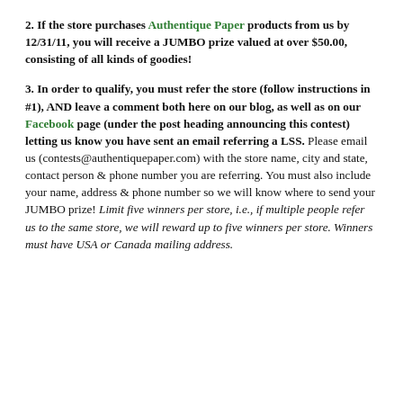2. If the store purchases Authentique Paper products from us by 12/31/11, you will receive a JUMBO prize valued at over $50.00, consisting of all kinds of goodies!
3. In order to qualify, you must refer the store (follow instructions in #1), AND leave a comment both here on our blog, as well as on our Facebook page (under the post heading announcing this contest) letting us know you have sent an email referring a LSS. Please email us (contests@authentiquepaper.com) with the store name, city and state, contact person & phone number you are referring. You must also include your name, address & phone number so we will know where to send your JUMBO prize! Limit five winners per store, i.e., if multiple people refer us to the same store, we will reward up to five winners per store. Winners must have USA or Canada mailing address.